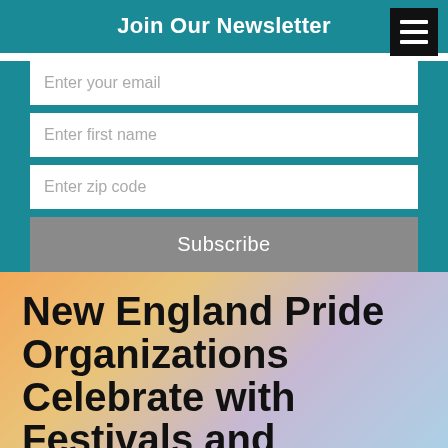Join Our Newsletter
Enter your email
Enter first name
Enter zip code
Subscribe
New England Pride Organizations Celebrate with Festivals and Education
TOPICS: Acceptance  Advocacy  Boston Pride
Champs  Education  Gay News  Hate Cri...